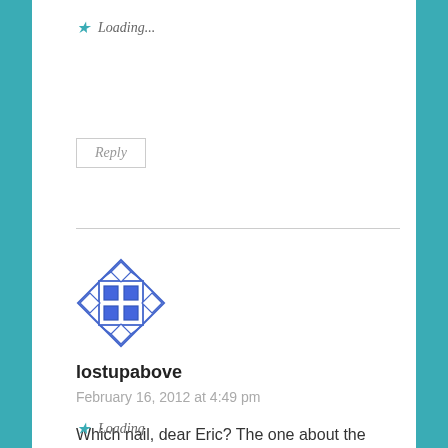★ Loading...
Reply
[Figure (illustration): Blue geometric diamond/lattice pattern avatar icon for user lostupabove]
lostupabove
February 16, 2012 at 4:49 pm
Which nail, dear Eric? The one about the expectations or the one about our names or both nails? (Knowing myself, it will probably be about the names) 🙂
★ Loading...